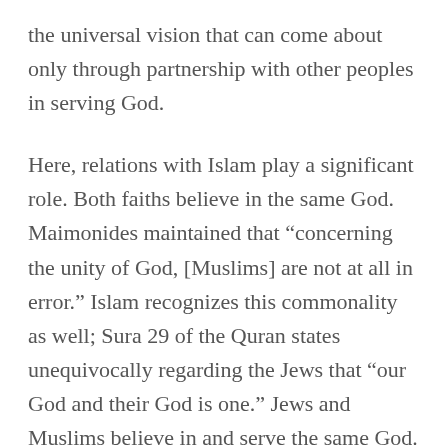the universal vision that can come about only through partnership with other peoples in serving God.
Here, relations with Islam play a significant role. Both faiths believe in the same God. Maimonides maintained that “concerning the unity of God, [Muslims] are not at all in error.” Islam recognizes this commonality as well; Sura 29 of the Quran states unequivocally regarding the Jews that “our God and their God is one.” Jews and Muslims believe in and serve the same God.
Modern rabbis continue to apply this principle. Rabbi Avigdor Nebenzahl, the former chief rabbi of